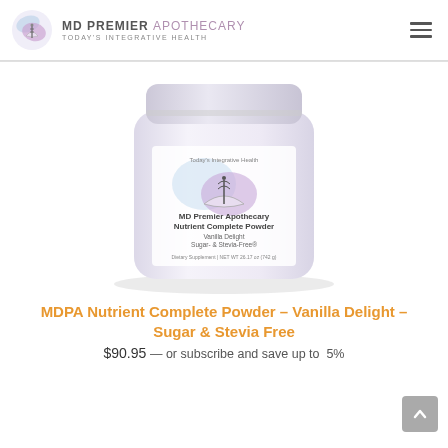MD PREMIER APOTHECARY TODAY'S INTEGRATIVE HEALTH
[Figure (photo): Product photo of a white cylindrical supplement jar labeled 'MD Premier Apothecary Nutrient Complete Powder, Vanilla Delight, Sugar- & Stevia-Free, Dietary Supplement, NET WT 26.17 oz (742 g)' with the MD Premier Apothecary logo on the label featuring a caduceus symbol with purple and blue swoosh design.]
MDPA Nutrient Complete Powder – Vanilla Delight – Sugar & Stevia Free
$90.95 — or subscribe and save up to 5%